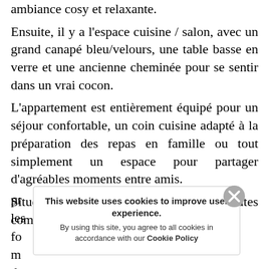ambiance cosy et relaxante.
Ensuite, il y a l'espace cuisine / salon, avec un grand canapé bleu/velours, une table basse en verre et une ancienne cheminée pour se sentir dans un vrai cocon.
L'appartement est entièrement équipé pour un séjour confortable, un coin cuisine adapté à la préparation des repas en famille ou tout simplement un espace pour partager d'agréables moments entre amis.
Situé en plein centre, proche de toutes commodités, à pr… ux les… la fo… le m… ce de…
[Figure (screenshot): Cookie consent modal overlay with close button (X), title 'This website uses cookies to improve user experience.' and body text 'By using this site, you agree to all cookies in accordance with our Cookie Policy']